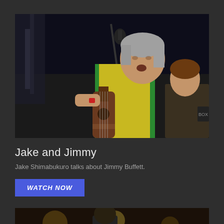[Figure (photo): An older man with gray hair singing into a microphone at an outdoor concert, wearing a yellow and green sleeveless shirt and playing a ukulele or small guitar. Another person is partially visible in the background on the right.]
Jake and Jimmy
Jake Shimabukuro talks about Jimmy Buffett.
WATCH NOW
[Figure (photo): A partially visible photo at the bottom showing a performer on stage with blurred background lights.]